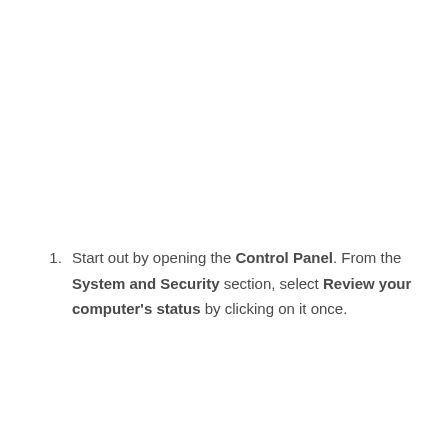Start out by opening the Control Panel. From the System and Security section, select Review your computer's status by clicking on it once.